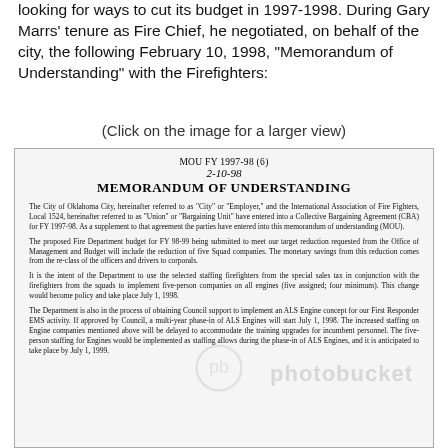looking for ways to cut its budget in 1997-1998. During Gary Marrs' tenure as Fire Chief, he negotiated, on behalf of the city, the following February 10, 1998, "Memorandum of Understanding" with the Firefighters:
(Click on the image for a larger view)
[Figure (photo): Scanned document image showing MOU FY 1997-98 (6), dated 2-10-98, titled MEMORANDUM OF UNDERSTANDING, with body text about The City of Oklahoma City, proposed Fire Department budget, staffing firefighters, and ALS Engine concept. Overlaid with Photobucket watermark.]